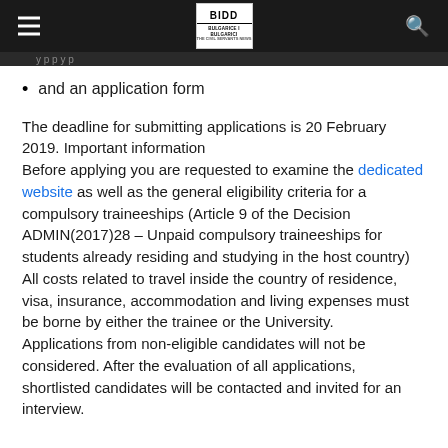BIDD — navigation header
and an application form
The deadline for submitting applications is 20 February 2019. Important information
Before applying you are requested to examine the dedicated website as well as the general eligibility criteria for a compulsory traineeships (Article 9 of the Decision ADMIN(2017)28 – Unpaid compulsory traineeships for students already residing and studying in the host country)
All costs related to travel inside the country of residence, visa, insurance, accommodation and living expenses must be borne by either the trainee or the University.
Applications from non-eligible candidates will not be considered. After the evaluation of all applications, shortlisted candidates will be contacted and invited for an interview.